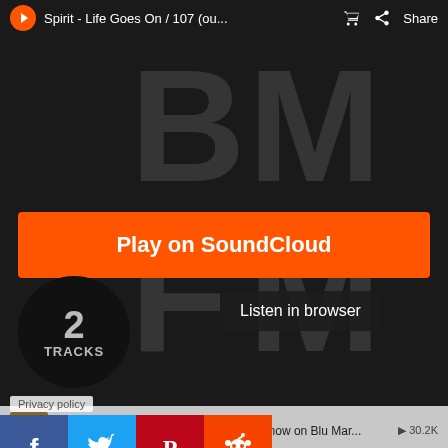Spirit - Life Goes On / 107 (ou...
[Figure (screenshot): SoundCloud embedded player showing album art with large BM FM letters on dark background, orange Play on SoundCloud button, Listen in browser button, 2 TRACKS circle badge]
Play on SoundCloud
Listen in browser
2
TRACKS
Blu Mar Ten - Spirit - Life Goes On (out now on Blu Mar... ▶ 30.2K
Blu Mar Ten - Spirit - 107 (out now on Blu Mar Ten Mus... ▶ 16.7K
Privacy policy
[Figure (logo): Facebook, Twitter, Pinterest, Reddit social share icons]